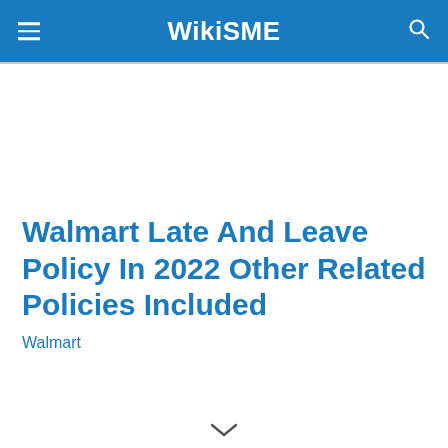WikiSME
Walmart Late And Leave Policy In 2022 Other Related Policies Included
Walmart